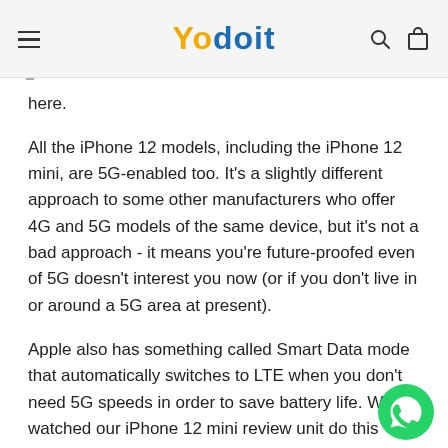Yodoit
here.
All the iPhone 12 models, including the iPhone 12 mini, are 5G-enabled too. It's a slightly different approach to some other manufacturers who offer 4G and 5G models of the same device, but it's not a bad approach - it means you're future-proofed even of 5G doesn't interest you now (or if you don't live in or around a 5G area at present).
Apple also has something called Smart Data mode that automatically switches to LTE when you don't need 5G speeds in order to save battery life. We've watched our iPhone 12 mini review unit do this throughout the day at home when we have Wi-Fi turned off. It's clever.
[Figure (logo): WhatsApp green circular button icon in the bottom right corner]